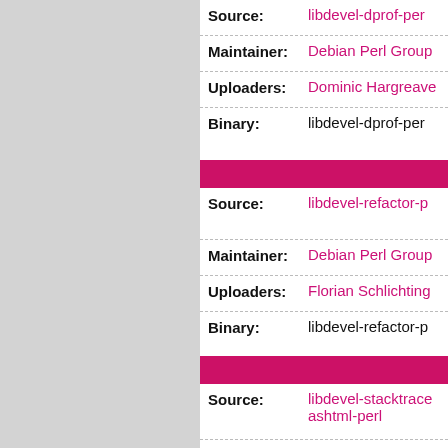| Field | Value |
| --- | --- |
| Source: | libdevel-dprof-per… |
| Maintainer: | Debian Perl Group |
| Uploaders: | Dominic Hargreave… |
| Binary: | libdevel-dprof-per… |
| Source: | libdevel-refactor-p… |
| Maintainer: | Debian Perl Group |
| Uploaders: | Florian Schlichting… |
| Binary: | libdevel-refactor-p… |
| Source: | libdevel-stacktrace… ashtml-perl |
| Maintainer: | Debian Perl Group |
| Uploaders: | Jonathan Yu <jaw… <fsfs@debian.org |
| Binary: | libdevel-stacktra… |